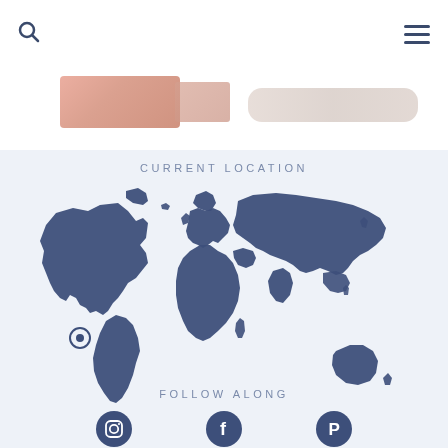[Figure (photo): Partial view of hands or body part images in header area]
CURRENT LOCATION
[Figure (map): World map silhouette in dark navy/slate blue color on light blue background, with a circular location pin marker on the left side near South America]
FOLLOW ALONG
[Figure (infographic): Social media icons row: Instagram circle icon, Facebook circle icon, Pinterest circle icon]